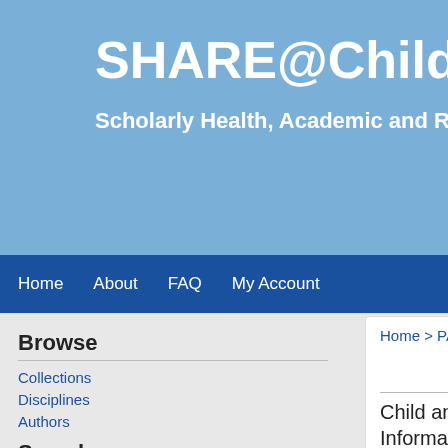SHARE@Children's
Scholarly Health, Academic and Research Exch
Home   About   FAQ   My Account
Browse
Collections
Disciplines
Authors
Search
Enter search terms:
in this series
Advanced Search
Home > PAPERS > 2861
MANUSC
Child and Parent Information and M